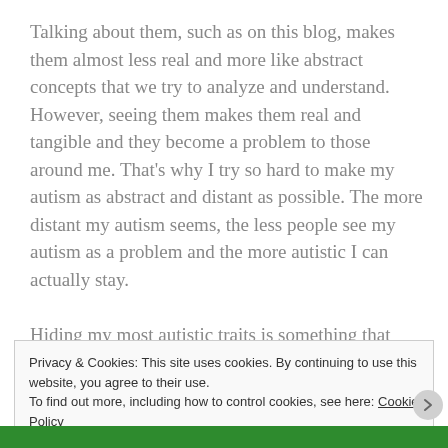Talking about them, such as on this blog, makes them almost less real and more like abstract concepts that we try to analyze and understand. However, seeing them makes them real and tangible and they become a problem to those around me. That's why I try so hard to make my autism as abstract and distant as possible. The more distant my autism seems, the less people see my autism as a problem and the more autistic I can actually stay.

Hiding my most autistic traits is something that comes automatically to me. No one, not even my family, has
Privacy & Cookies: This site uses cookies. By continuing to use this website, you agree to their use.
To find out more, including how to control cookies, see here: Cookie Policy
Close and accept